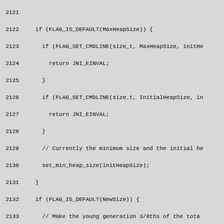[Figure (screenshot): Source code listing showing C++ code for JVM heap size configuration, lines 2121-2150, monospace font on gray background]